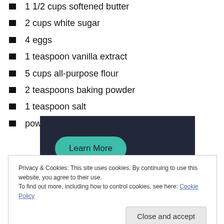1 1/2 cups softened butter
2 cups white sugar
4 eggs
1 teaspoon vanilla extract
5 cups all-purpose flour
2 teaspoons baking powder
1 teaspoon salt
powdered sugar for rolling
[Figure (other): Dark banner advertisement with a teal 'Learn More' button]
Privacy & Cookies: This site uses cookies. By continuing to use this website, you agree to their use.
To find out more, including how to control cookies, see here: Cookie Policy